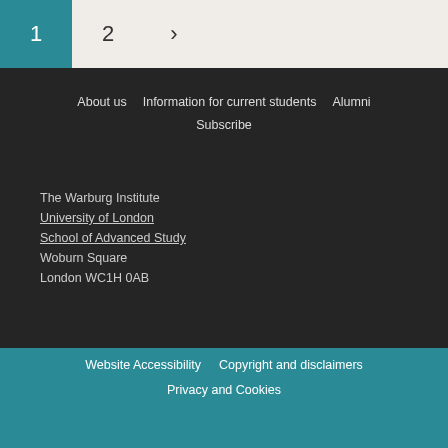1  2  >
About us  Information for current students  Alumni  Subscribe
The Warburg Institute
University of London
School of Advanced Study
Woburn Square
London WC1H 0AB
Website Accessibility  Copyright and disclaimers  Privacy and Cookies